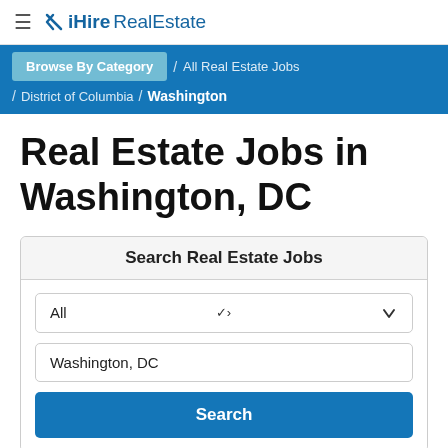≡ ✕ iHire RealEstate
Browse By Category / All Real Estate Jobs / District of Columbia / Washington
Real Estate Jobs in Washington, DC
Search Real Estate Jobs
All
Washington, DC
Search